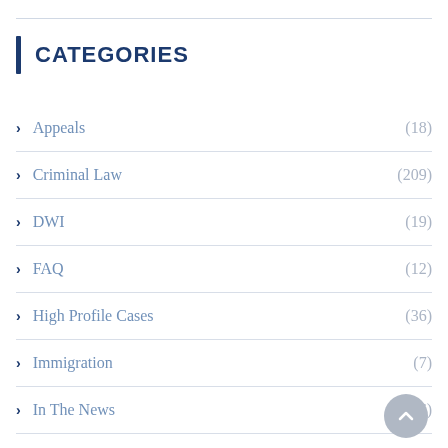CATEGORIES
Appeals (18)
Criminal Law (209)
DWI (19)
FAQ (12)
High Profile Cases (36)
Immigration (7)
In The News (106)